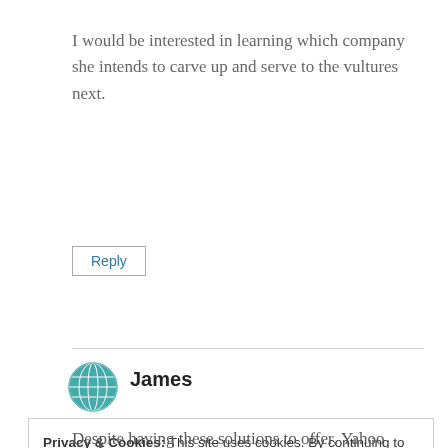I would be interested in learning which company she intends to carve up and serve to the vultures next.
Reply
James
Privacy & Cookies: This site uses cookies. By continuing to use this website, you agree to their use.
To find out more, including how to control cookies, see here: Cookie Policy
Close and accept
Despite having these solutions to offer, Yahoo